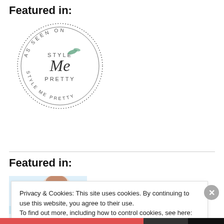Featured in:
[Figure (logo): Circular stamp logo reading 'AS SEEN ON STYLE ME PRETTY' with decorative script and floral element in center]
Featured in:
[Figure (photo): Thumbnail image of a woman in bridal style with text 'featured on' overlaid]
Privacy & Cookies: This site uses cookies. By continuing to use this website, you agree to their use.
To find out more, including how to control cookies, see here: Cookie Policy
Close and accept